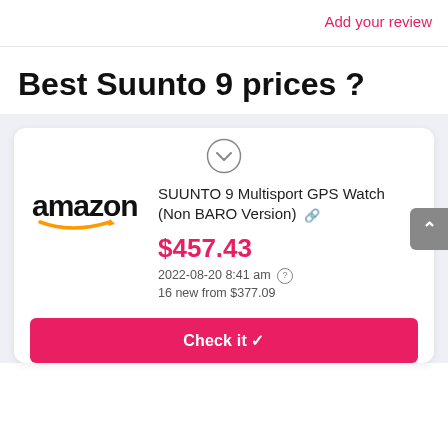Add your review
Best Suunto 9 prices ?
[Figure (logo): Amazon logo with orange smile/arrow]
SUUNTO 9 Multisport GPS Watch (Non BARO Version)
$457.43
2022-08-20 8:41 am
16 new from $377.09